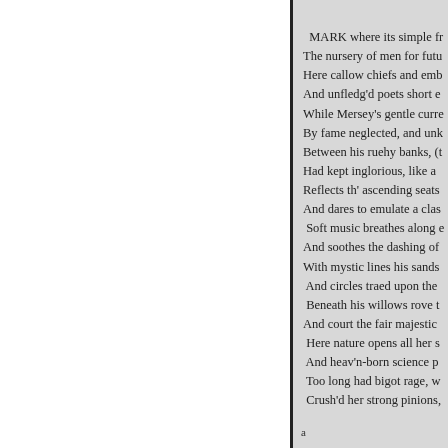MARK where its simple fr
The nursery of men for futu
Here callow chiefs and emb
And unfledg'd poets short e
While Mersey's gentle curre
By fame neglected, and unk
Between his ruehy banks, (t
Had kept inglorious, like a
Reflects th' ascending seats
And dares to emulate a clas
Soft music breathes along e
And soothes the dashing of
With mystic lines his sands
And circles traed upon the
Beneath his willows rove t
And court the fair majestic
Here nature opens all her s
And heav'n-born science p
Too long had bigot rage, w
Crush'd her strong pinions,
a